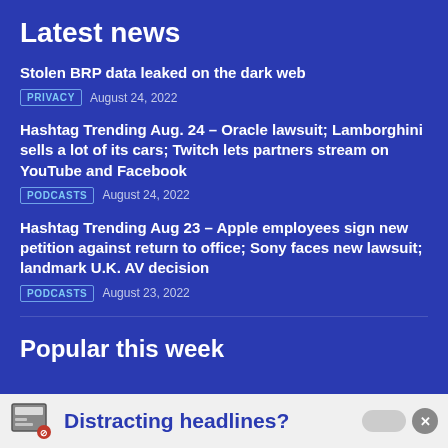Latest news
Stolen BRP data leaked on the dark web
PRIVACY   August 24, 2022
Hashtag Trending Aug. 24 – Oracle lawsuit; Lamborghini sells a lot of its cars; Twitch lets partners stream on YouTube and Facebook
PODCASTS   August 24, 2022
Hashtag Trending Aug 23 – Apple employees sign new petition against return to office; Sony faces new lawsuit; landmark U.K. AV decision
PODCASTS   August 23, 2022
Popular this week
Distracting headlines?